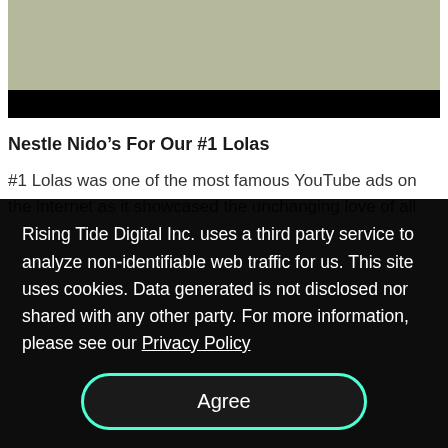[Figure (photo): Partial image visible at top of page with olive/grey-green color and a black bar at the bottom of the image]
Nestle Nido’s For Our #1 Lolas
#1 Lolas was one of the most famous YouTube ads on the internet as it showcased the unchanging love of all
Rising Tide Digital Inc. uses a third party service to analyze non-identifiable web traffic for us. This site uses cookies. Data generated is not disclosed nor shared with any other party. For more information, please see our Privacy Policy
Agree